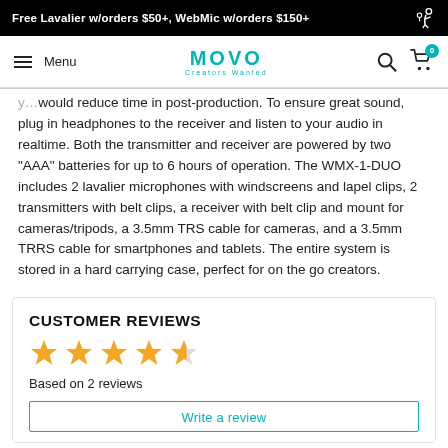Free Lavalier w/orders $50+, WebMic w/orders $150+
MOVO Creators Wanted — Menu navigation with search and cart
would reduce time in post-production. To ensure great sound, plug in headphones to the receiver and listen to your audio in realtime. Both the transmitter and receiver are powered by two "AAA" batteries for up to 6 hours of operation. The WMX-1-DUO includes 2 lavalier microphones with windscreens and lapel clips, 2 transmitters with belt clips, a receiver with belt clip and mount for cameras/tripods, a 3.5mm TRS cable for cameras, and a 3.5mm TRRS cable for smartphones and tablets. The entire system is stored in a hard carrying case, perfect for on the go creators.
CUSTOMER REVIEWS
[Figure (other): 4.5 out of 5 stars rating displayed as star icons]
Based on 2 reviews
Write a review (button, partially visible)